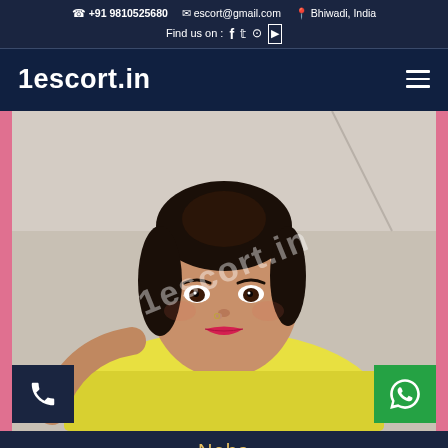+91 9810525680  escort@gmail.com  Bhiwadi, India  Find us on : f t o yt
1escort.in
[Figure (photo): Portrait photo of a young woman named Neha wearing a yellow top, with watermark '1escort.in' overlaid diagonally. Pink borders on left and right sides. Call and WhatsApp buttons at bottom corners.]
Neha